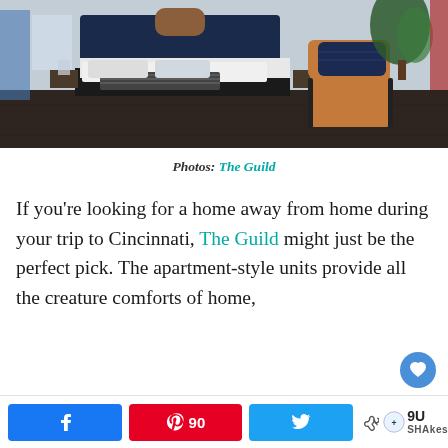[Figure (photo): A stylish hotel/apartment bedroom with a navy blue upholstered bed with white bedding and a black/white throw blanket, dark hardwood floors, a brown leather armchair with a navy blue pillow, and a green plant in the background.]
Photos: The Guild
If you're looking for a home away from home during your trip to Cincinnati, The Guild might just be the perfect pick. The apartment-style units provide all the creature comforts of home,